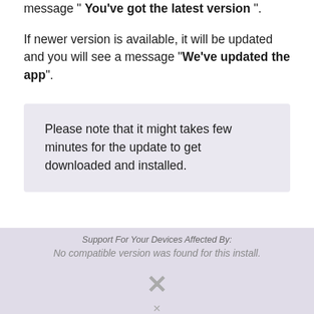message “You’ve got the latest version”.
If newer version is available, it will be updated and you will see a message “We’ve updated the app”.
Please note that it might takes few minutes for the update to get downloaded and installed.
[Figure (screenshot): Screenshot of a dialog box showing 'Support for Your Devices Affected By: No compatible version was found for this install.' with an X button and close controls.]